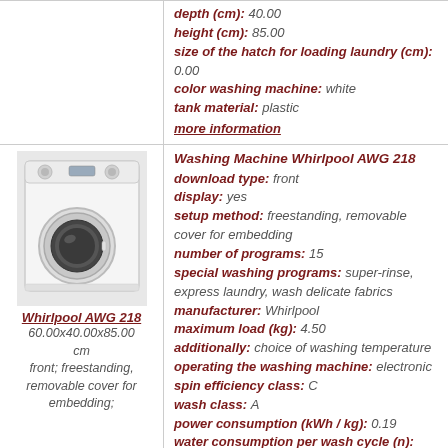depth (cm): 40.00
height (cm): 85.00
size of the hatch for loading laundry (cm): 0.00
color washing machine: white
tank material: plastic
more information
[Figure (photo): Photo of Whirlpool AWG 218 front-loading washing machine, white color]
Whirlpool AWG 218
60.00x40.00x85.00 cm
front; freestanding, removable cover for embedding;
Washing Machine Whirlpool AWG 218
download type: front
display: yes
setup method: freestanding, removable cover for embedding
number of programs: 15
special washing programs: super-rinse, express laundry, wash delicate fabrics
manufacturer: Whirlpool
maximum load (kg): 4.50
additionally: choice of washing temperature
operating the washing machine: electronic
spin efficiency class: C
wash class: A
power consumption (kWh / kg): 0.19
water consumption per wash cycle (n): 42.00
class power consumption: A
spin speed (rpm): 1000.00
protection from water leaks
control imbalance
ability to select the spin speed
weight of the washing machine (kg): 60.00
width (cm): 60.00
depth (cm): 40.00
height (cm): 85.00